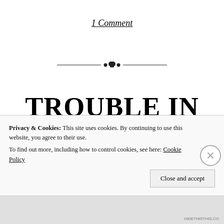1 Comment
[Figure (illustration): Decorative typographic divider: horizontal lines with ornamental dot cluster in center]
TROUBLE IN SBS-LAND
Privacy & Cookies: This site uses cookies. By continuing to use this website, you agree to their use.
To find out more, including how to control cookies, see here: Cookie Policy
Close and accept